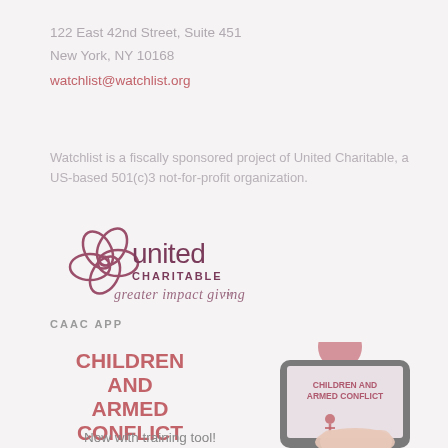122 East 42nd Street, Suite 451
New York, NY 10168
watchlist@watchlist.org
Watchlist is a fiscally sponsored project of United Charitable, a US-based 501(c)3 not-for-profit organization.
[Figure (logo): United Charitable logo with flower/swirl icon and text 'united CHARITABLE greater impact giving']
CAAC APP
[Figure (infographic): CHILDREN AND ARMED CONFLICT app promotional image showing bold pink text on left and a hand holding a smartphone displaying 'CHILDREN AND ARMED CONFLICT' with a small child icon on screen. A pink circular element is above the phone.]
Now with training tool!